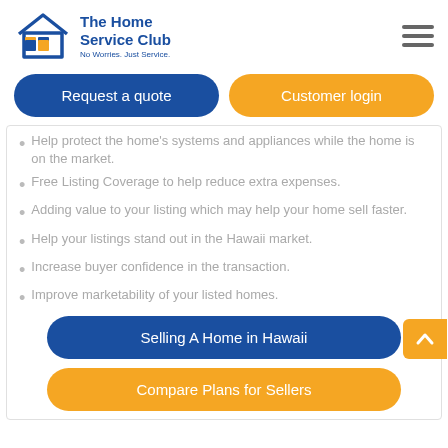[Figure (logo): The Home Service Club logo with house icon and text 'No Worries. Just Service.']
Request a quote
Customer login
Help protect the home's systems and appliances while the home is on the market.
Free Listing Coverage to help reduce extra expenses.
Adding value to your listing which may help your home sell faster.
Help your listings stand out in the Hawaii market.
Increase buyer confidence in the transaction.
Improve marketability of your listed homes.
Selling A Home in Hawaii
Compare Plans for Sellers